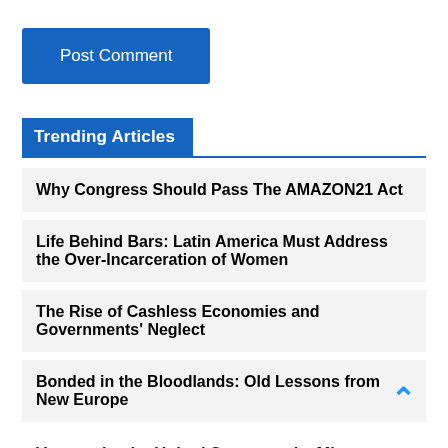Post Comment
Trending Articles
Why Congress Should Pass The AMAZON21 Act
Life Behind Bars: Latin America Must Address the Over-Incarceration of Women
The Rise of Cashless Economies and Governments' Neglect
Bonded in the Bloodlands: Old Lessons from New Europe
Venezuela, the United States, and a Mirror